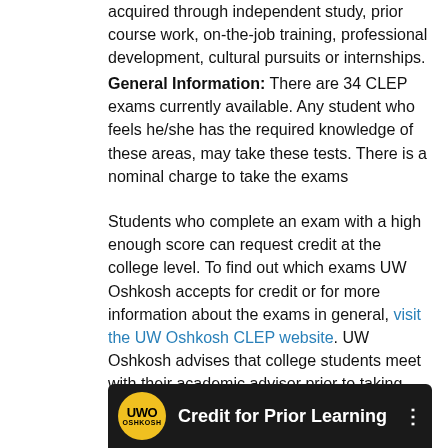acquired through independent study, prior course work, on-the-job training, professional development, cultural pursuits or internships.
General Information: There are 34 CLEP exams currently available. Any student who feels he/she has the required knowledge of these areas, may take these tests. There is a nominal charge to take the exams
Students who complete an exam with a high enough score can request credit at the college level. To find out which exams UW Oshkosh accepts for credit or for more information about the exams in general, visit the UW Oshkosh CLEP website. UW Oshkosh advises that college students meet with their academic advisor prior to taking these exams.
[Figure (screenshot): Video thumbnail bar showing UWO Oshkosh logo (yellow circle with UWO OSHKOSH text) on dark background with title 'Credit for Prior Learning' and a three-dot menu icon on the right.]